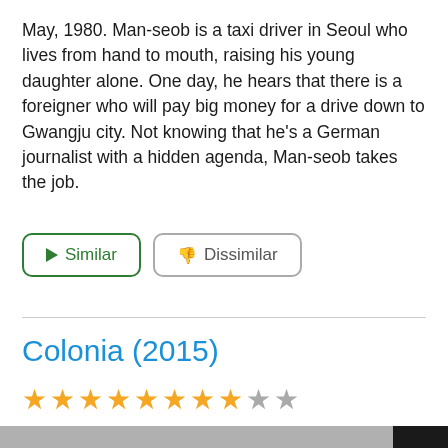May, 1980. Man-seob is a taxi driver in Seoul who lives from hand to mouth, raising his young daughter alone. One day, he hears that there is a foreigner who will pay big money for a drive down to Gwangju city. Not knowing that he’s a German journalist with a hidden agenda, Man-seob takes the job.
► Similar
👎 Dissimilar
Colonia (2015)
[Figure (other): Star rating showing 8 out of 10 stars — 8 filled gold stars and 2 empty grey stars]
[Figure (photo): Partial movie image/thumbnail with black bars on left and right sides and grey center area, partially visible at the bottom of the page]